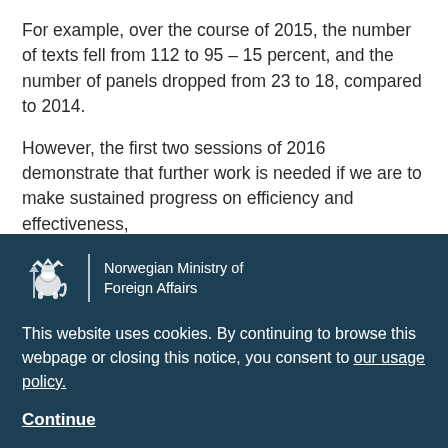For example, over the course of 2015, the number of texts fell from 112 to 95 – 15 percent, and the number of panels dropped from 23 to 18, compared to 2014.
However, the first two sessions of 2016 demonstrate that further work is needed if we are to make sustained progress on efficiency and effectiveness,
[Figure (logo): Norwegian Ministry of Foreign Affairs logo with lion crest and vertical divider line]
This website uses cookies. By continuing to browse this webpage or closing this notice, you consent to our usage policy.
Continue